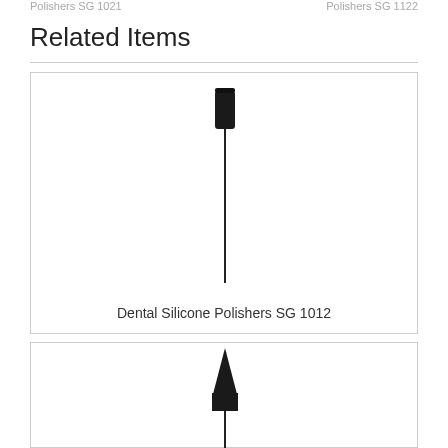Polishers SG 1021   Polishers SG 1122
Related Items
[Figure (photo): Dental Silicone Polisher SG 1012 - cylindrical black rubber polishing tip on a thin metal shank]
Dental Silicone Polishers SG 1012
[Figure (photo): Dental Silicone Polisher - pointed bullet-shaped black rubber polishing tip on a thin metal shank]